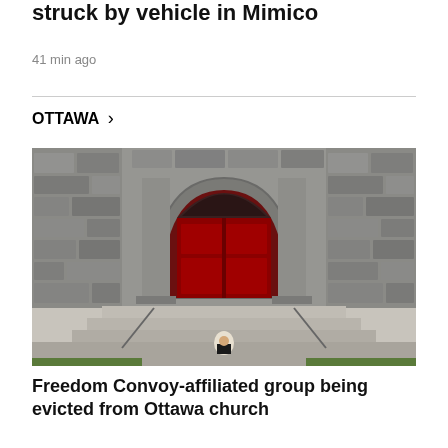struck by vehicle in Mimico
41 min ago
OTTAWA >
[Figure (photo): Photo of a stone church facade with a large red arched double door. A person is sitting on the steps in front of the door.]
Freedom Convoy-affiliated group being evicted from Ottawa church